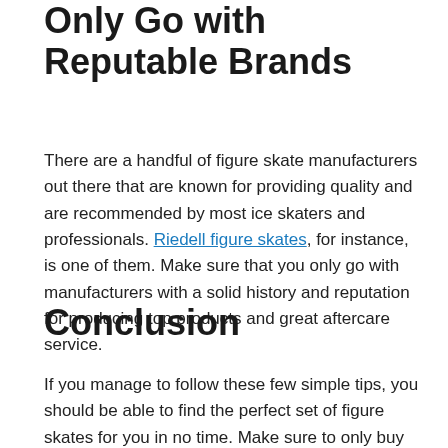Only Go with Reputable Brands
There are a handful of figure skate manufacturers out there that are known for providing quality and are recommended by most ice skaters and professionals. Riedell figure skates, for instance, is one of them. Make sure that you only go with manufacturers with a solid history and reputation for producing top products and great aftercare service.
Conclusion
If you manage to follow these few simple tips, you should be able to find the perfect set of figure skates for you in no time. Make sure to only buy from reputable sources and don't be